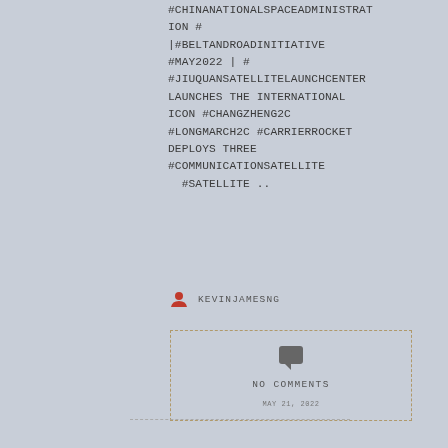#CHINANATIONALSPACEADMINISTRATION # |#BELTANDROADINITIATIVE #MAY2022 | # #JIUQUANSATELLITELAUNCHCENTER LAUNCHES THE INTERNATIONAL ICON #CHANGZHENG2C #LONGMARCH2C #CARRIERROCKET DEPLOYS THREE #COMMUNICATIONSATELLITE #SATELLITE ..
KEVINJAMESNG
NO COMMENTS
MAY 21, 2022